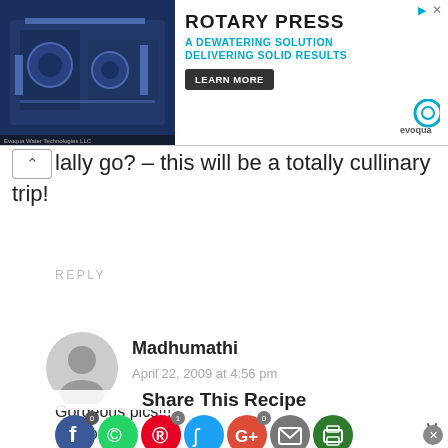[Figure (advertisement): Rotary Press / A Dewatering Solution Delivering Solid Results / Learn More button / Evoqua Water Technologies logo]
lally go? – this will be a totally cullinary trip!
REPLY
[Figure (photo): User avatar placeholder - grey circle person icon]
Madhumathi
April 22, 2009 at 4:56 pm
Share This Recipe
Gorgeous pics!!!
O Cl lo ver um y